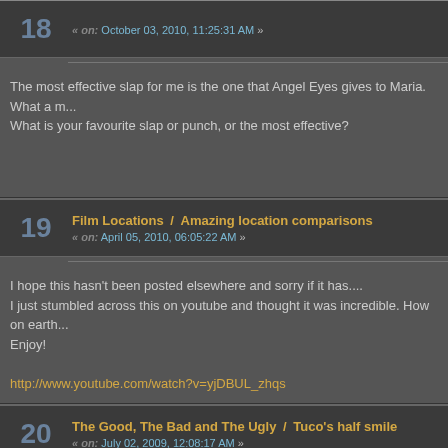« on: October 03, 2010, 11:25:31 AM »
The most effective slap for me is the one that Angel Eyes gives to Maria. What a r... What is your favourite slap or punch, or the most effective?
Film Locations / Amazing location comparisons « on: April 05, 2010, 06:05:22 AM »
I hope this hasn't been posted elsewhere and sorry if it has....
I just stumbled across this on youtube and thought it was incredible. How on earth...
Enjoy!

http://www.youtube.com/watch?v=yjDBUL_zhqs
The Good, The Bad and The Ugly / Tuco's half smile « on: July 02, 2009, 12:08:17 AM »
Well I've just posted 2 new topics so why not a 3rd?
At the opening of the final gunfight in Sadhill cemetery Angel Eyes watches Tuco c... about little aspects that I have always noticed but never really questioned.
Is it simply the first of many nodding glances that we see between the 3 as they m... member.

So I suppose my question is, does Tuco give Angel Eyes a smile as if to say "Me a...
The Good, The Bad and The Ugly / The original overdubbing « on: July 01, 2009, 11:59:02 PM »